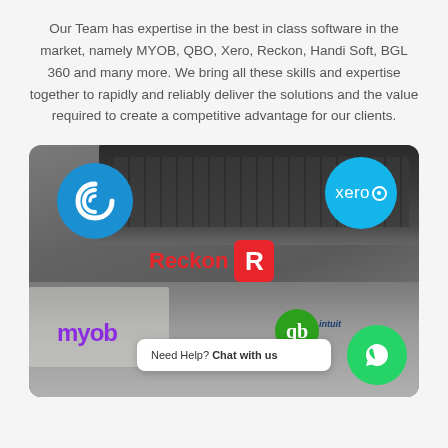Our Team has expertise in the best in class software in the market, namely MYOB, QBO, Xero, Reckon, Handi Soft, BGL 360 and many more. We bring all these skills and expertise together to rapidly and reliably deliver the solutions and the value required to create a competitive advantage for our clients.
[Figure (photo): A photo collage showing hands using a calculator on a desk with a laptop, overlaid with software logos: Handi Soft (blue swirl circle), Xero (blue circle), Reckon (red text + red R badge), MYOB (purple text), QuickBooks/Intuit (green circle with qb), and a WhatsApp contact button with chat bubble saying 'Need Help? Chat with us'.]